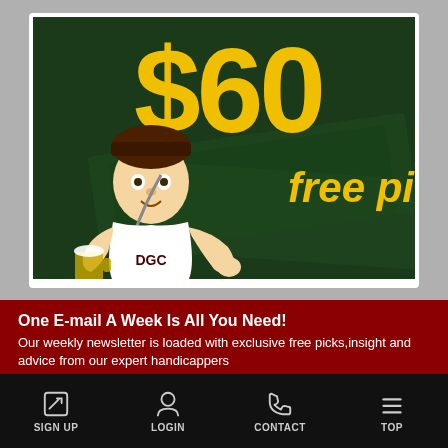[Figure (illustration): Advertisement banner showing '$60 free picks' in large yellow text on a dark green background with dollar bills, featuring a cartoon doctor/handicapper character with a thumbs up]
One E-mail A Week Is All You Need!
Our weekly newsletter is loaded with exclusive free picks,insight and advice from our expert handicappers
Enter Your email address | Subscribe
SIGN UP | LOGIN | CONTACT | TOP